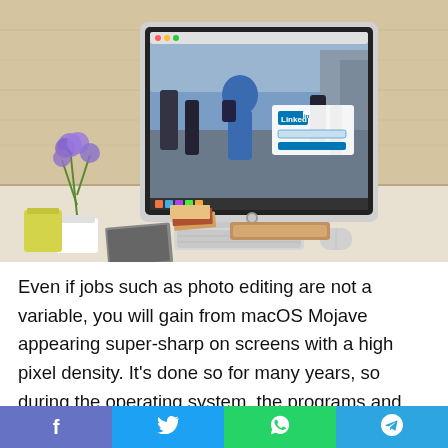[Figure (photo): A white iMac computer on a desk showing LinkedIn website, with a white pot plant with purple flowers, a yellow cup, a silver notebook, books, Apple keyboard and mouse. Wooden background.]
Even if jobs such as photo editing are not a variable, you will gain from macOS Mojave appearing super-sharp on screens with a high pixel density. It's done so for many years, so during the operating system, the programs and lots of
[Figure (infographic): Social sharing bar at the bottom with four buttons: Facebook (blue-purple), Twitter (blue), WhatsApp (green), Telegram (blue)]